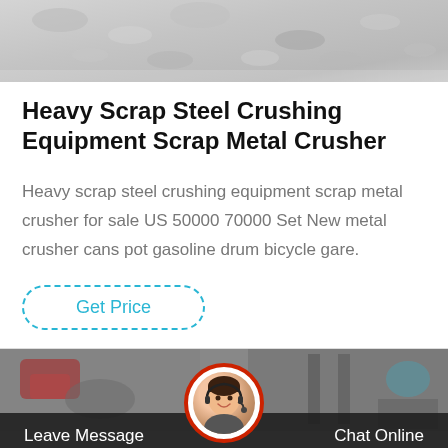[Figure (photo): Top image of crushed scrap metal / gravel aggregate, gray tones]
Heavy Scrap Steel Crushing Equipment Scrap Metal Crusher
Heavy scrap steel crushing equipment scrap metal crusher for sale US 50000 70000 Set New metal crusher cans pot gasoline drum bicycle gare.
Get Price
[Figure (photo): Bottom banner composite: industrial equipment photos on left and right, customer service representative avatar in center circle with red border, dark footer bar with 'Leave Message' on left and 'Chat Online' on right]